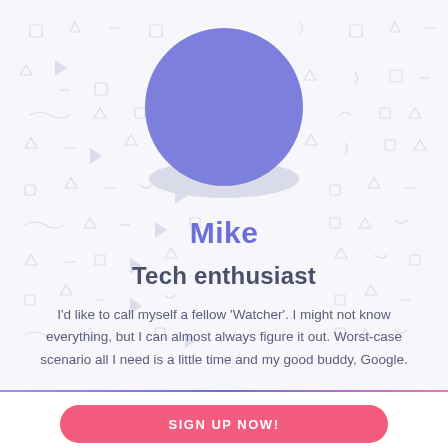[Figure (illustration): Circular avatar with purple/indigo fill and a grey shadow ellipse below, on a light background with decorative geometric pattern icons (squares, triangles, play buttons, squiggles) tiled across the upper portion of the page.]
Mike
Tech enthusiast
I'd like to call myself a fellow 'Watcher'. I might not know everything, but I can almost always figure it out. Worst-case scenario all I need is a little time and my good buddy, Google.
SIGN UP NOW!